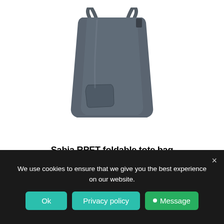[Figure (photo): A dark grey foldable tote bag (Sabia RPET) shown unfolded with handles at the top and a small exterior pocket, photographed on a white background.]
Sabia RPET foldable tote bag
We use cookies to ensure that we give you the best experience on our website.
Ok
Privacy policy
Message